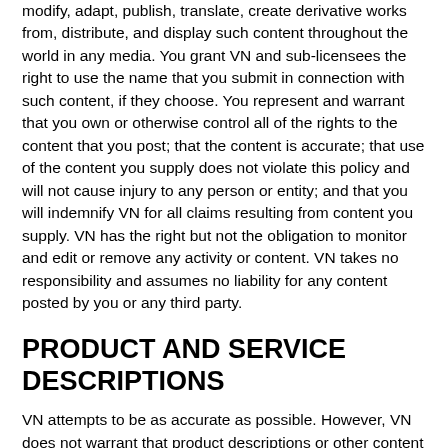modify, adapt, publish, translate, create derivative works from, distribute, and display such content throughout the world in any media. You grant VN and sub-licensees the right to use the name that you submit in connection with such content, if they choose. You represent and warrant that you own or otherwise control all of the rights to the content that you post; that the content is accurate; that use of the content you supply does not violate this policy and will not cause injury to any person or entity; and that you will indemnify VN for all claims resulting from content you supply. VN has the right but not the obligation to monitor and edit or remove any activity or content. VN takes no responsibility and assumes no liability for any content posted by you or any third party.
PRODUCT AND SERVICE DESCRIPTIONS
VN attempts to be as accurate as possible. However, VN does not warrant that product descriptions or other content of any VN Service is accurate, complete, reliable, current, or error-free. If a product offered by VN itself is not as described, your sole remedy